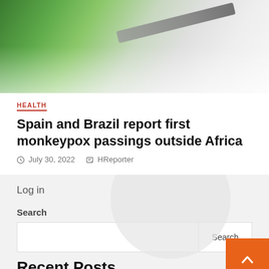[Figure (photo): Blurred close-up photo of a green medical/lab item and a diagonal gray object, likely a medical test tube or syringe, against a light background]
HEALTH
Spain and Brazil report first monkeypox passings outside Africa
July 30, 2022   HReporter
Log in
Search
Recent Posts